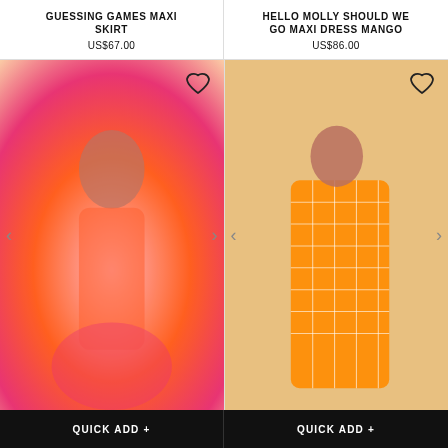GUESSING GAMES MAXI SKIRT
US$67.00
HELLO MOLLY SHOULD WE GO MAXI DRESS MANGO
US$86.00
[Figure (photo): Model wearing a colorful orange and pink halter maxi skirt, posing on a white sofa]
[Figure (photo): Model wearing an orange checkered one-shoulder maxi dress, standing indoors]
QUICK ADD +
QUICK ADD +